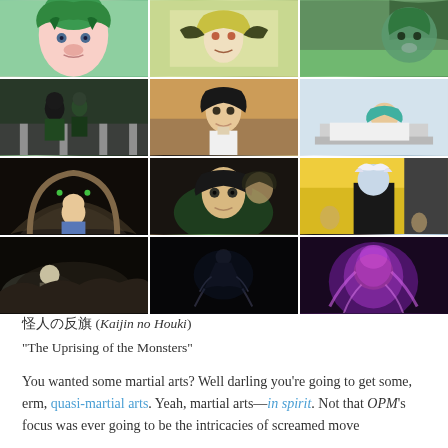[Figure (photo): 3x4 grid of anime screenshots from One Punch Man, showing various characters including green-haired characters, a martial artist with dark hair, Saitama, and various monster/villain scenes. Row 1: close-up of green-haired girl, girl with another character, green spiral character. Row 2: two characters on street, dark-haired martial artist close-up with crowd, bandaged character resting. Row 3: bald man in striped shirt entering archway, close-up of dark-haired fighter with green glow, muscular figure with white hair from behind. Row 4: battle scene on rocks, dark figure suspended, glowing purple monster.]
怪人の反旗 (Kaijin no Houki)
"The Uprising of the Monsters"

You wanted some martial arts? Well darling you're going to get some, erm, quasi-martial arts. Yeah, martial arts—in spirit. Not that OPM's focus was ever going to be the intricacies of screamed move